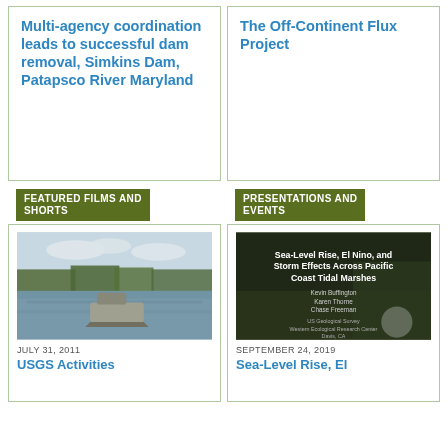Multi-agency coordination leads to successful dam removal, Simkins Dam, Patapsco River Maryland
The Off-Continent Flux Project
FEATURED FILMS AND SHORTS
PRESENTATIONS AND EVENTS
[Figure (photo): A boat on a wide river with trees and cloudy sky in the background]
JULY 31, 2011
USGS Activities
[Figure (photo): Presentation slide titled 'Sea-Level Rise, El Nino, and Storm Effects Across Pacific Coast Tidal Marshes' by Kevin Buffington, Karen Thorne, Chase Freeman, US Geological Survey Western Ecological Research Center, Davis, CA]
SEPTEMBER 24, 2019
Sea-Level Rise, El